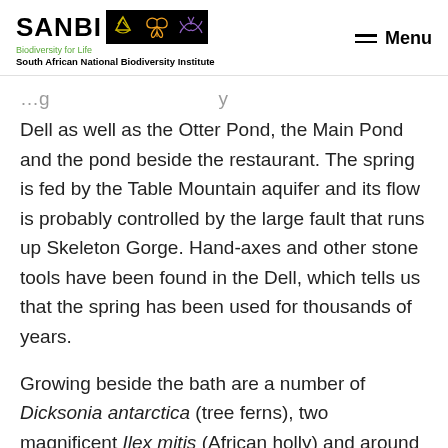SANBI Biodiversity for Life South African National Biodiversity Institute | Menu
Dell as well as the Otter Pond, the Main Pond and the pond beside the restaurant. The spring is fed by the Table Mountain aquifer and its flow is probably controlled by the large fault that runs up Skeleton Gorge. Hand-axes and other stone tools have been found in the Dell, which tells us that the spring has been used for thousands of years.
Growing beside the bath are a number of Dicksonia antarctica (tree ferns), two magnificent Ilex mitis (African holly) and around the Bath are shade-loving plants such as Clivia miniata (bush lily), Scadoxus multiflorus subsp. katharinae (fireball lily) and Asparagus